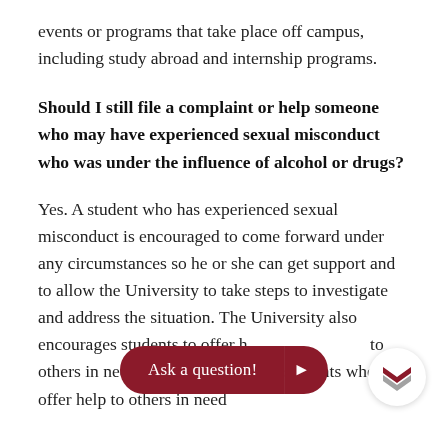events or programs that take place off campus, including study abroad and internship programs.
Should I still file a complaint or help someone who may have experienced sexual misconduct who was under the influence of alcohol or drugs?
Yes. A student who has experienced sexual misconduct is encouraged to come forward under any circumstances so he or she can get support and to allow the University to take steps to investigate and address the situation. The University also encourages students to offer help to others in need. Comp[...] students who offer help to others in need